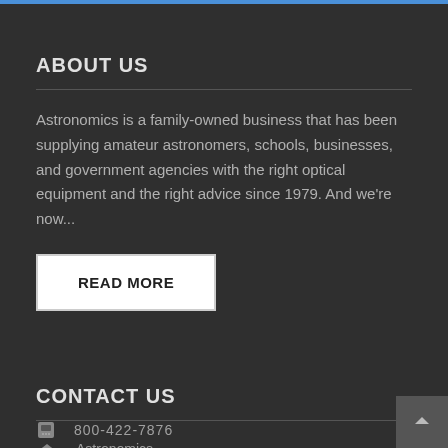ABOUT US
Astronomics is a family-owned business that has been supplying amateur astronomers, schools, businesses, and government agencies with the right optical equipment and the right advice since 1979. And we're now...
READ MORE
CONTACT US
Astronomics
680 24th Avenue SW
Norman, OK. 73069
USA